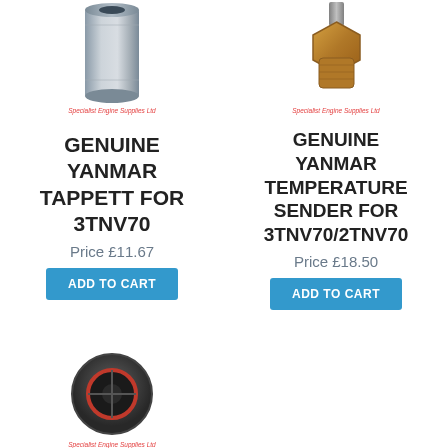[Figure (photo): Genuine Yanmar tappett cylindrical metal part with hollow center, with 'Specialist Engine Supplies Ltd' watermark]
GENUINE YANMAR TAPPETT FOR 3TNV70
Price £11.67
ADD TO CART
[Figure (photo): Genuine Yanmar temperature sender brass hex fitting with stem, with 'Specialist Engine Supplies Ltd' watermark]
GENUINE YANMAR TEMPERATURE SENDER FOR 3TNV70/2TNV70
Price £18.50
ADD TO CART
[Figure (photo): Thermostat part, circular black housing with red-rimmed inner ring, with 'Specialist Engine Supplies Ltd' watermark]